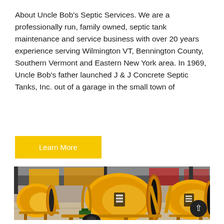About Uncle Bob's Septic Services. We are a professionally run, family owned, septic tank maintenance and service business with over 20 years experience serving Wilmington VT, Bennington County, Southern Vermont and Eastern New York area. In 1969, Uncle Bob's father launched J & J Concrete Septic Tanks, Inc. out of a garage in the small town of
Learn More
[Figure (photo): Yellow concrete mixer machines in an industrial warehouse setting]